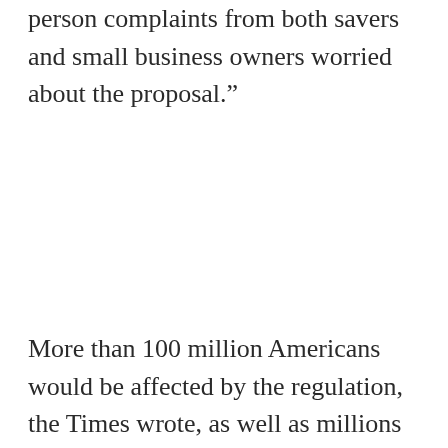person complaints from both savers and small business owners worried about the proposal.”
More than 100 million Americans would be affected by the regulation, the Times wrote, as well as millions of businesses.